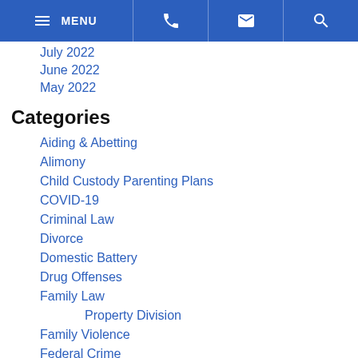MENU | phone | mail | search
July 2022
June 2022
May 2022
Categories
Aiding & Abetting
Alimony
Child Custody Parenting Plans
COVID-19
Criminal Law
Divorce
Domestic Battery
Drug Offenses
Family Law
Property Division
Family Violence
Federal Crime
Juvenile Crimes
Prenuptial Agreements
Property Crimes
Sex Offenses (partially visible)